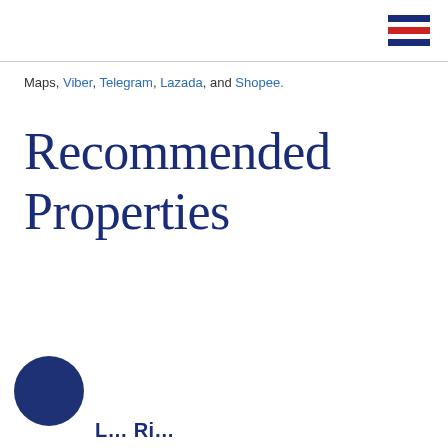[hamburger menu icon]
Maps, Viber, Telegram, Lazada, and Shopee.
Recommended Properties
[Figure (illustration): Dark blue circular avatar/profile image placeholder at lower left]
L... Ri...